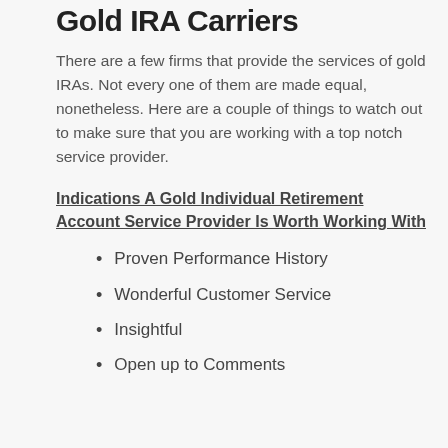Gold IRA Carriers
There are a few firms that provide the services of gold IRAs. Not every one of them are made equal, nonetheless. Here are a couple of things to watch out to make sure that you are working with a top notch service provider.
Indications A Gold Individual Retirement Account Service Provider Is Worth Working With
Proven Performance History
Wonderful Customer Service
Insightful
Open up to Comments